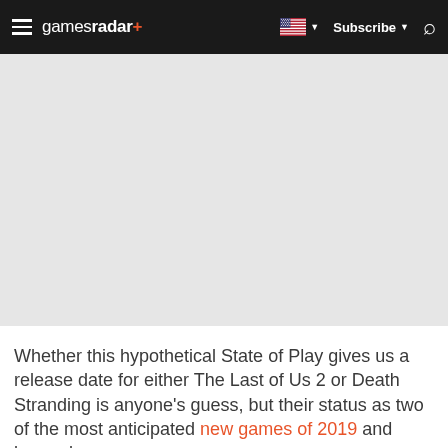gamesradar+ | Subscribe | Search
[Figure (other): Advertisement or placeholder area, light gray background]
Whether this hypothetical State of Play gives us a release date for either The Last of Us 2 or Death Stranding is anyone's guess, but their status as two of the most anticipated new games of 2019 and beyond